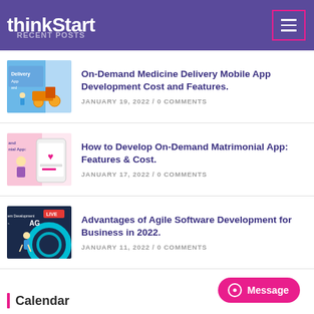thinkStart
Recent Posts
On-Demand Medicine Delivery Mobile App Development Cost and Features.
JANUARY 19, 2022 / 0 COMMENTS
How to Develop On-Demand Matrimonial App: Features & Cost.
JANUARY 17, 2022 / 0 COMMENTS
Advantages of Agile Software Development for Business in 2022.
JANUARY 11, 2022 / 0 COMMENTS
Calendar